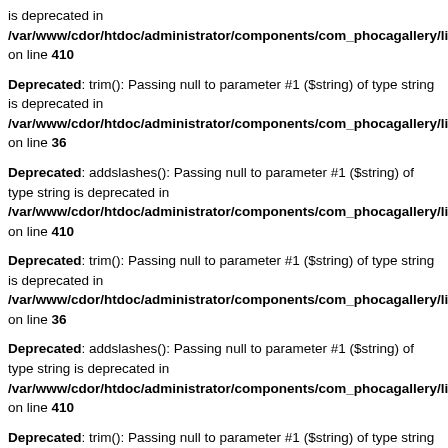is deprecated in /var/www/cdor/htdoc/administrator/components/com_phocagallery/libraries on line 410
Deprecated: trim(): Passing null to parameter #1 ($string) of type string is deprecated in /var/www/cdor/htdoc/administrator/components/com_phocagallery/libraries on line 36
Deprecated: addslashes(): Passing null to parameter #1 ($string) of type string is deprecated in /var/www/cdor/htdoc/administrator/components/com_phocagallery/libraries on line 410
Deprecated: trim(): Passing null to parameter #1 ($string) of type string is deprecated in /var/www/cdor/htdoc/administrator/components/com_phocagallery/libraries on line 36
Deprecated: addslashes(): Passing null to parameter #1 ($string) of type string is deprecated in /var/www/cdor/htdoc/administrator/components/com_phocagallery/libraries on line 410
Deprecated: trim(): Passing null to parameter #1 ($string) of type string is deprecated in